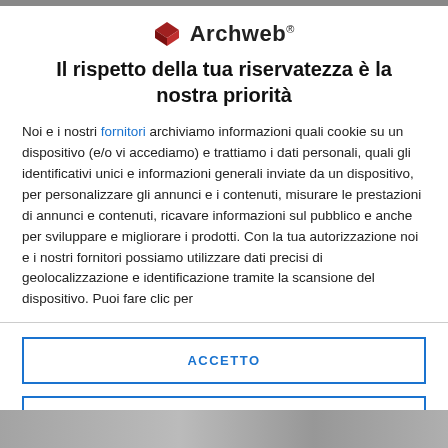[Figure (logo): Archweb logo: red diamond/cube icon followed by 'Archweb®' text in bold]
Il rispetto della tua riservatezza è la nostra priorità
Noi e i nostri fornitori archiviamo informazioni quali cookie su un dispositivo (e/o vi accediamo) e trattiamo i dati personali, quali gli identificativi unici e informazioni generali inviate da un dispositivo, per personalizzare gli annunci e i contenuti, misurare le prestazioni di annunci e contenuti, ricavare informazioni sul pubblico e anche per sviluppare e migliorare i prodotti. Con la tua autorizzazione noi e i nostri fornitori possiamo utilizzare dati precisi di geolocalizzazione e identificazione tramite la scansione del dispositivo. Puoi fare clic per
ACCETTO
PIÙ OPZIONI